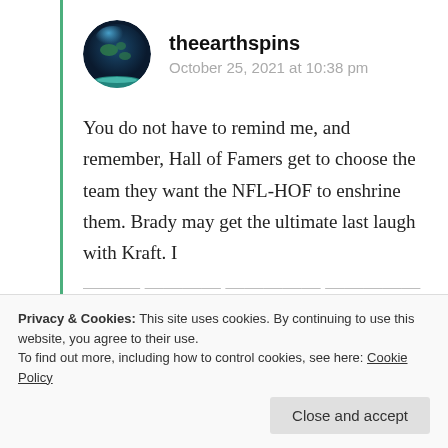theearthspins
October 25, 2021 at 10:38 pm
You do not have to remind me, and remember, Hall of Famers get to choose the team they want the NFL-HOF to enshrine them. Brady may get the ultimate last laugh with Kraft. I
Privacy & Cookies: This site uses cookies. By continuing to use this website, you agree to their use.
To find out more, including how to control cookies, see here: Cookie Policy
Close and accept